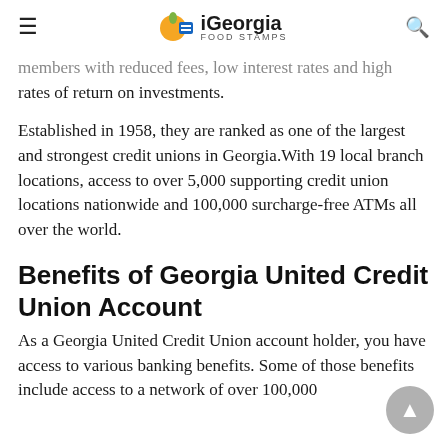iGeorgia FOOD STAMPS
members with reduced fees, low interest rates and high rates of return on investments.
Established in 1958, they are ranked as one of the largest and strongest credit unions in Georgia.With 19 local branch locations, access to over 5,000 supporting credit union locations nationwide and 100,000 surcharge-free ATMs all over the world.
Benefits of Georgia United Credit Union Account
As a Georgia United Credit Union account holder, you have access to various banking benefits. Some of those benefits include access to a network of over 100,000